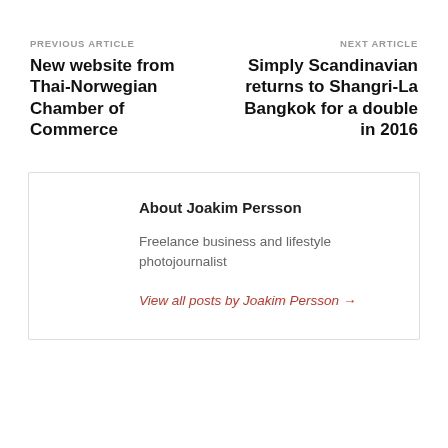PREVIOUS ARTICLE
New website from Thai-Norwegian Chamber of Commerce
NEXT ARTICLE
Simply Scandinavian returns to Shangri-La Bangkok for a double in 2016
About Joakim Persson
Freelance business and lifestyle photojournalist
View all posts by Joakim Persson →